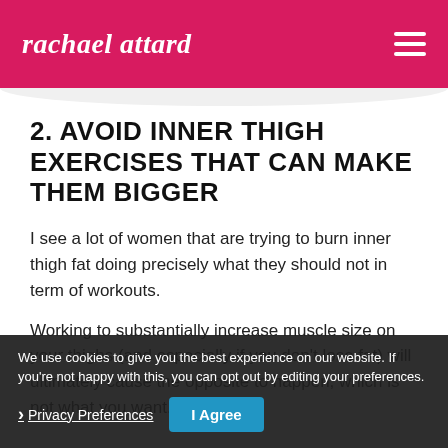rachael attard
2. AVOID INNER THIGH EXERCISES THAT CAN MAKE THEM BIGGER
I see a lot of women that are trying to burn inner thigh fat doing precisely what they should not in term of workouts.
Working to substantially increase muscle size on your thighs (and especially if you don't lose fat) will ultimately cause the opposite to happen, which is not what you want.
We use cookies to give you the best experience on our website. If you're not happy with this, you can opt out by editing your preferences.